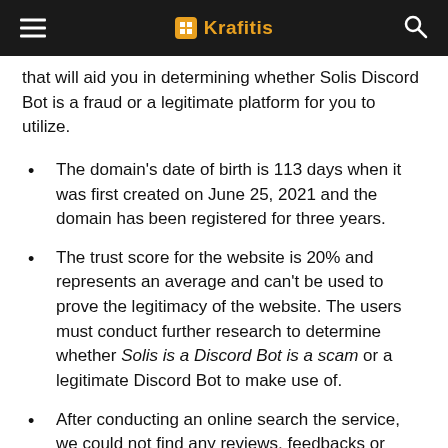Krafitis
that will aid you in determining whether Solis Discord Bot is a fraud or a legitimate platform for you to utilize.
The domain's date of birth is 113 days when it was first created on June 25, 2021 and the domain has been registered for three years.
The trust score for the website is 20% and represents an average and can't be used to prove the legitimacy of the website. The users must conduct further research to determine whether Solis is a Discord Bot is a scam or a legitimate Discord Bot to make use of.
After conducting an online search the service, we could not find any reviews, feedbacks or feedback from users. We found only a handful of posts online, where people have asked questions and requesting information concerning discord bot, Discord Bot, and there is no proof that the